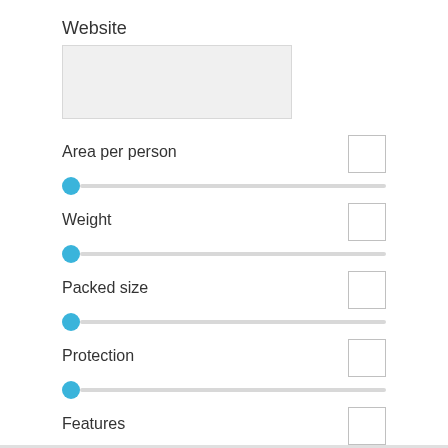Website
[Figure (other): Text input field for Website URL]
Area per person
[Figure (other): Slider with blue thumb at left, checkbox on right for Area per person]
Weight
[Figure (other): Slider with blue thumb at left, checkbox on right for Weight]
Packed size
[Figure (other): Slider with blue thumb at left, checkbox on right for Packed size]
Protection
[Figure (other): Slider with blue thumb at left, checkbox on right for Protection]
Features
[Figure (other): Slider with blue thumb at left, checkbox on right for Features]
POST COMMENT